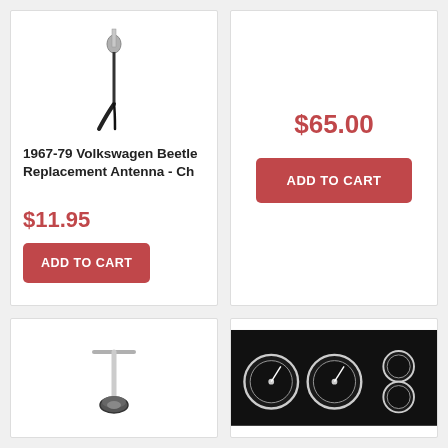[Figure (photo): Volkswagen Beetle replacement antenna product photo - chrome/black antenna]
1967-79 Volkswagen Beetle Replacement Antenna - Ch
$11.95
ADD TO CART
$65.00
ADD TO CART
[Figure (photo): Antenna base/mount product photo - chrome T-bar antenna]
[Figure (photo): Dashboard gauge cluster product photo - black background with chrome bezels]